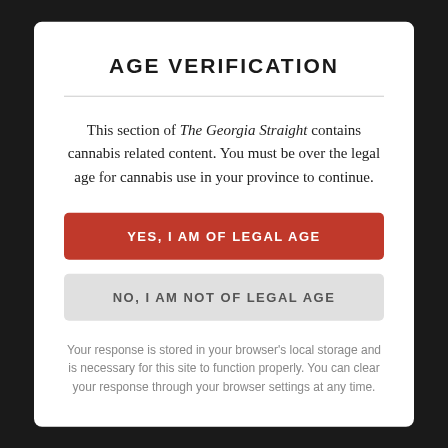AGE VERIFICATION
This section of The Georgia Straight contains cannabis related content. You must be over the legal age for cannabis use in your province to continue.
YES, I AM OF LEGAL AGE
NO, I AM NOT OF LEGAL AGE
Your response is stored in your browser's local storage and is necessary for this site to function properly. You can clear your response through your browser settings at any time.